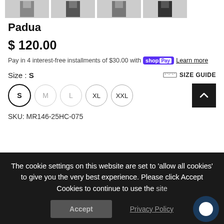[Figure (photo): Four thumbnail images of men's clothing product (Padua) at the top of the page]
Padua
$ 120.00
Pay in 4 interest-free installments of $30.00 with Shop Pay Learn more
Size : S
SIZE GUIDE
S M L XL XXL
SKU: MR146-25HC-075
The cookie settings on this website are set to 'allow all cookies' to give you the very best experience. Please click Accept Cookies to continue to use the site
Accept
Privacy Policy